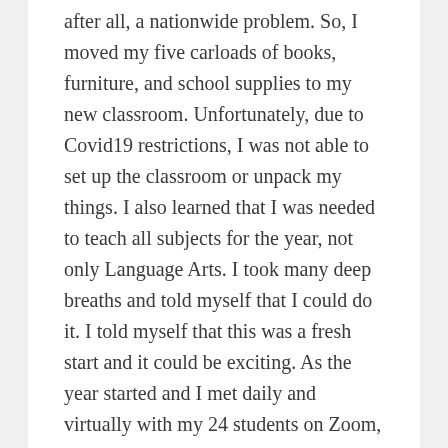after all, a nationwide problem. So, I moved my five carloads of books, furniture, and school supplies to my new classroom. Unfortunately, due to Covid19 restrictions, I was not able to set up the classroom or unpack my things. I also learned that I was needed to teach all subjects for the year, not only Language Arts. I took many deep breaths and told myself that I could do it. I told myself that this was a fresh start and it could be exciting. As the year started and I met daily and virtually with my 24 students on Zoom, we plugged along together and tried to do the best we could. Between being virtual and planning for five subjects, I was always feeling like I was on my last leg. I was not sleeping, I was not able to plan as I wanted to (I can be a bit of an overachiever and this clearly was not the year I should have tried to do that), and I was missing